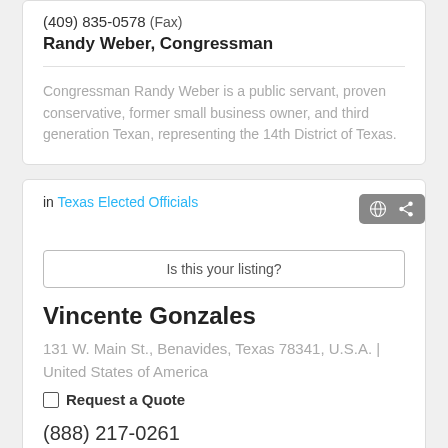(409) 835-0578 (Fax)
Randy Weber, Congressman
Congressman Randy Weber is a public servant, proven conservative, former small business owner, and third generation Texan, representing the 14th District of Texas.
in Texas Elected Officials
Is this your listing?
Vincente Gonzales
131 W. Main St., Benavides, Texas 78341, U.S.A. | United States of America
Request a Quote
(888) 217-0261